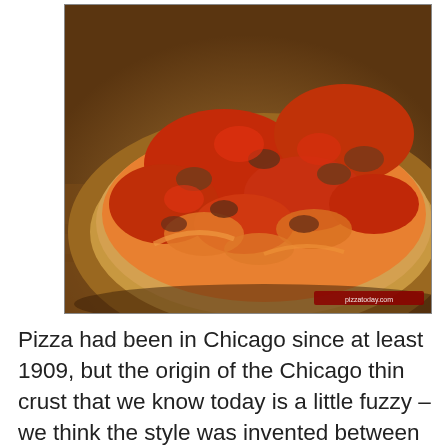[Figure (photo): Close-up photograph of a Chicago thin crust pizza with chunky tomato sauce and melted cheese on a wooden surface, shot from a low angle. A small red watermark/logo is visible in the bottom right corner.]
Pizza had been in Chicago since at least 1909, but the origin of the Chicago thin crust that we know today is a little fuzzy – we think the style was invented between 1946 and 1949. Similar to many midwest cracker thin style pizzas, Chicago thin crust pizza has a smooth, sweet, often zesty, almost paste-like